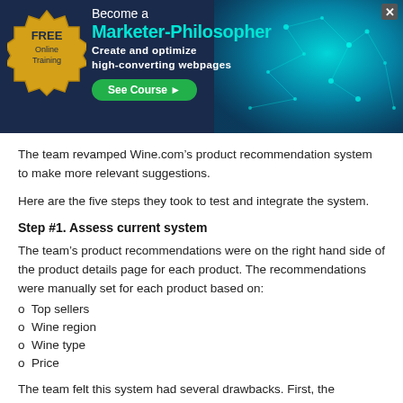[Figure (illustration): Banner advertisement for free online training: Become a Marketer-Philosopher. Create and optimize high-converting webpages. See Course button. Gold seal on left, teal neural/brain graphic on right, dark blue background. Close X button top right.]
The team revamped Wine.com’s product recommendation system to make more relevant suggestions.
Here are the five steps they took to test and integrate the system.
Step #1. Assess current system
The team’s product recommendations were on the right hand side of the product details page for each product. The recommendations were manually set for each product based on:
o  Top sellers
o  Wine region
o  Wine type
o  Price
The team felt this system had several drawbacks. First, the